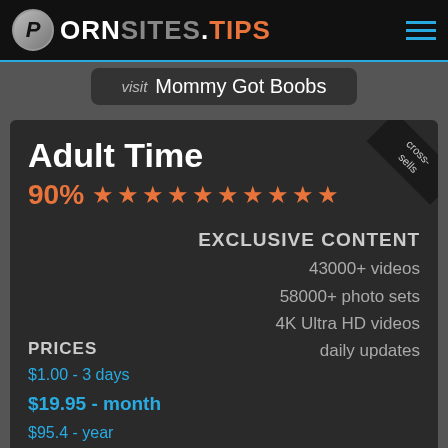PORNSITES.TIPS
visit Mommy Got Boobs
Adult Time
90% ★★★★★★★★★★
EXCLUSIVE CONTENT
43000+ videos
58000+ photo sets
4K Ultra HD videos
daily updates
PRICES
$1.00 - 3 days
$19.95 - month
$95.4 - year
NETWORK: Includes access to 60 sites.
cross-sells